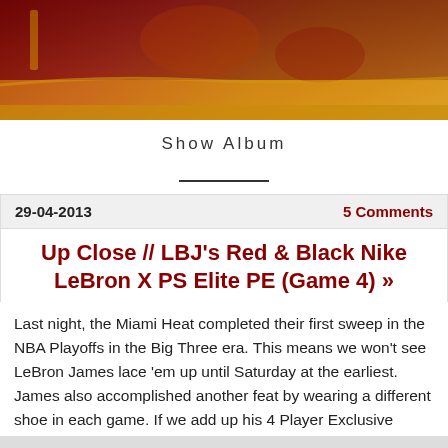[Figure (photo): Basketball court image with red and dark background, partial view of NBA game action]
Show Album
29-04-2013    5 Comments
Up Close // LBJ's Red & Black Nike LeBron X PS Elite PE (Game 4) »
Last night, the Miami Heat completed their first sweep in the NBA Playoffs in the Big Three era. This means we won't see LeBron James lace 'em up until Saturday at the earliest. James also accomplished another feat by wearing a different shoe in each game. If we add up his 4 Player Exclusive styles of the LeBron X PS [...]
- Read More -